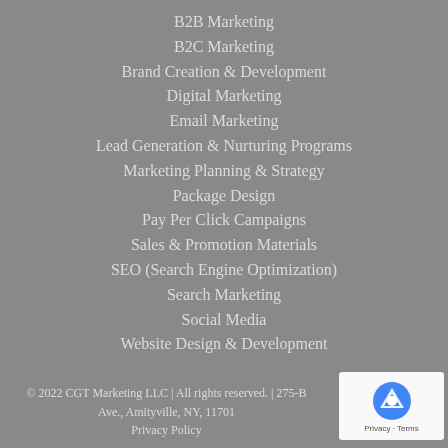B2B Marketing
B2C Marketing
Brand Creation & Development
Digital Marketing
Email Marketing
Lead Generation & Nurturing Programs
Marketing Planning & Strategy
Package Design
Pay Per Click Campaigns
Sales & Promotion Materials
SEO (Search Engine Optimization)
Search Marketing
Social Media
Website Design & Development
© 2022 CGT Marketing LLC | All rights reserved. | 275-B Ave., Amityville, NY, 11701
Privacy Policy